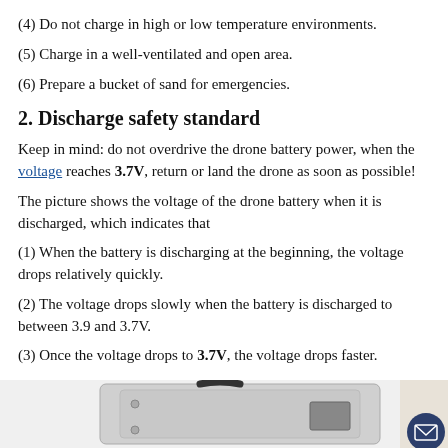(4) Do not charge in high or low temperature environments.
(5) Charge in a well-ventilated and open area.
(6) Prepare a bucket of sand for emergencies.
2. Discharge safety standard
Keep in mind: do not overdrive the drone battery power, when the voltage reaches 3.7V, return or land the drone as soon as possible!
The picture shows the voltage of the drone battery when it is discharged, which indicates that
(1) When the battery is discharging at the beginning, the voltage drops relatively quickly.
(2) The voltage drops slowly when the battery is discharged to between 3.9 and 3.7V.
(3) Once the voltage drops to 3.7V, the voltage drops faster.
[Figure (photo): Photo of a drone battery pack, partially visible at the bottom of the page.]